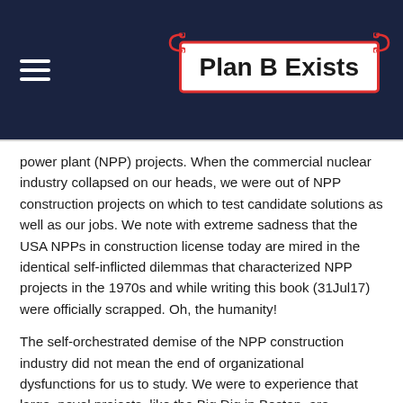Plan B Exists
power plant (NPP) projects. When the commercial nuclear industry collapsed on our heads, we were out of NPP construction projects on which to test candidate solutions as well as our jobs. We note with extreme sadness that the USA NPPs in construction license today are mired in the identical self-inflicted dilemmas that characterized NPP projects in the 1970s and while writing this book (31Jul17) were officially scrapped. Oh, the humanity!
The self-orchestrated demise of the NPP construction industry did not mean the end of organizational dysfunctions for us to study. We were to experience that large, novel projects, like the Big Dig in Boston, are exceedingly dysfunctional and identical in their dysfunctions. By a [rocket icon] of fate, good or bad luck depending on your point of view, we